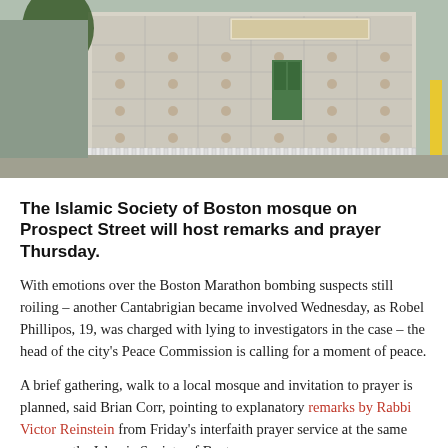[Figure (photo): Exterior photograph of the Islamic Society of Boston mosque on Prospect Street, showing ornate white decorative facade with geometric patterns, white fence, and a tree in the foreground.]
The Islamic Society of Boston mosque on Prospect Street will host remarks and prayer Thursday.
With emotions over the Boston Marathon bombing suspects still roiling – another Cantabrigian became involved Wednesday, as Robel Phillipos, 19, was charged with lying to investigators in the case – the head of the city's Peace Commission is calling for a moment of peace.
A brief gathering, walk to a local mosque and invitation to prayer is planned, said Brian Corr, pointing to explanatory remarks by Rabbi Victor Reinstein from Friday's interfaith prayer service at the same mosque, the Islamic Society of Boston mosque on Prospect Street.